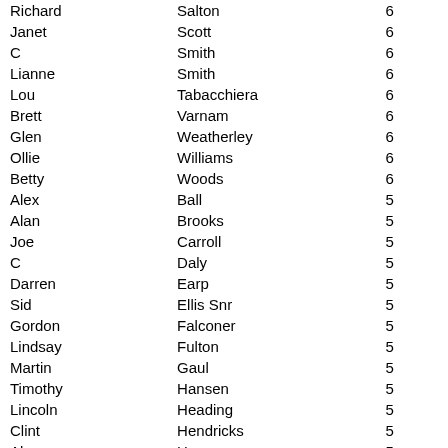| Richard | Salton | 6 |
| Janet | Scott | 6 |
| C | Smith | 6 |
| Lianne | Smith | 6 |
| Lou | Tabacchiera | 6 |
| Brett | Varnam | 6 |
| Glen | Weatherley | 6 |
| Ollie | Williams | 6 |
| Betty | Woods | 6 |
| Alex | Ball | 5 |
| Alan | Brooks | 5 |
| Joe | Carroll | 5 |
| C | Daly | 5 |
| Darren | Earp | 5 |
| Sid | Ellis Snr | 5 |
| Gordon | Falconer | 5 |
| Lindsay | Fulton | 5 |
| Martin | Gaul | 5 |
| Timothy | Hansen | 5 |
| Lincoln | Heading | 5 |
| Clint | Hendricks | 5 |
| Alex | Huang | 5 |
| Trevor | Hughes | 5 |
| Ewan | Humphreys | 5 |